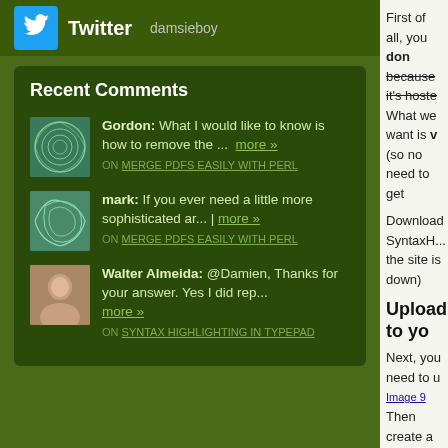[Figure (logo): Twitter logo icon blue bird]
Twitter damsieboy
Recent Comments
Gordon: What I would like to know is how to remove the ... more » ON MERGE PDFS EASILY WITH PERL
mark: If you ever need a little more sophisticated ar... | more » ON MERGE PDFS EASILY WITH PERL
Walter Almeida: @Damien, Thanks for your answer. Yes I did rep... more » ON SYNTAX HIGHLIGHTING IN TYPEPAD
First of all, you don't because it's hoste... What we want is v... (so no need to get...
Download SyntaxH... the site is down)
Upload to yo...
Next, you need to u...
[Figure (screenshot): Image 9 placeholder]
Then create a dire... files. This list is the... support more langu... upload all the lang... I'm an Emacs addi...
[Figure (screenshot): Image 7 placeholder]
Make sure your up... name) :
http://YOURSITE.C...